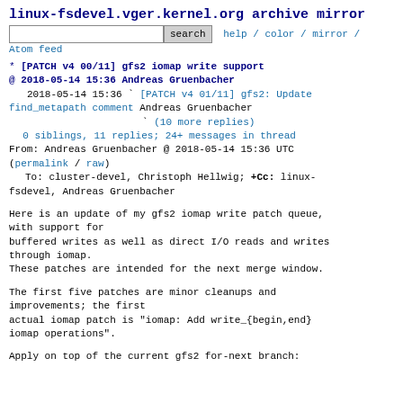linux-fsdevel.vger.kernel.org archive mirror
search  help / color / mirror /
Atom feed
* [PATCH v4 00/11] gfs2 iomap write support
@ 2018-05-14 15:36 Andreas Gruenbacher
  2018-05-14 15:36 ` [PATCH v4 01/11] gfs2: Update find_metapath comment Andreas Gruenbacher
                   ` (10 more replies)
  0 siblings, 11 replies; 24+ messages in thread
From: Andreas Gruenbacher @ 2018-05-14 15:36 UTC
(permalink / raw)
  To: cluster-devel, Christoph Hellwig; +Cc: linux-fsdevel, Andreas Gruenbacher
Here is an update of my gfs2 iomap write patch queue, with support for
buffered writes as well as direct I/O reads and writes through iomap.
These patches are intended for the next merge window.
The first five patches are minor cleanups and improvements; the first
actual iomap patch is "iomap: Add write_{begin,end} iomap operations".
Apply on top of the current gfs2 for-next branch: